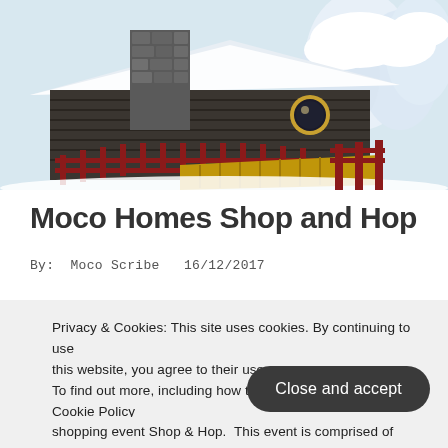[Figure (illustration): 3D rendered image of a snow-covered cabin/lodge with a stone chimney, round porthole window, red wooden fence, wooden walkway/ramp, and snow-covered pine trees in the background. Winter scene.]
Moco Homes Shop and Hop
By:  Moco Scribe   16/12/2017
Privacy & Cookies: This site uses cookies. By continuing to use this website, you agree to their use.
To find out more, including how to con Cookie Policy
shopping event Shop & Hop.  This event is comprised of